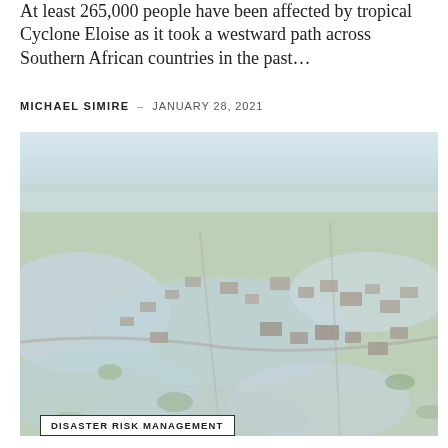At least 265,000 people have been affected by tropical Cyclone Eloise as it took a westward path across Southern African countries in the past…
MICHAEL SIMIRE – JANUARY 28, 2021
[Figure (photo): Aerial photograph showing extensive flooding across a low-lying town or settlement, with floodwaters covering roads, fields and structures, visible from above under a hazy sky.]
DISASTER RISK MANAGEMENT